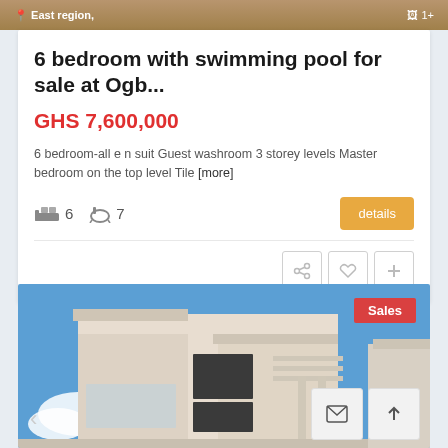[Figure (screenshot): Top cropped image strip showing location tag 'East region,' and image count indicator '1+' over a brown/beige photo background]
6 bedroom with swimming pool for sale at Ogb...
GHS 7,600,000
6 bedroom-all e n suit Guest washroom 3 storey levels Master bedroom on the top level Tile [more]
6  7
[Figure (photo): Exterior photo of a modern multi-storey white/cream house with flat roof architecture against a blue sky. Red 'Sales' badge in top right corner.]